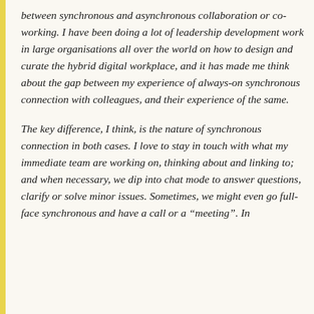between synchronous and asynchronous collaboration or co-working. I have been doing a lot of leadership development work in large organisations all over the world on how to design and curate the hybrid digital workplace, and it has made me think about the gap between my experience of always-on synchronous connection with colleagues, and their experience of the same.
The key difference, I think, is the nature of synchronous connection in both cases. I love to stay in touch with what my immediate team are working on, thinking about and linking to; and when necessary, we dip into chat mode to answer questions, clarify or solve minor issues. Sometimes, we might even go full-face synchronous and have a call or a "meeting". In